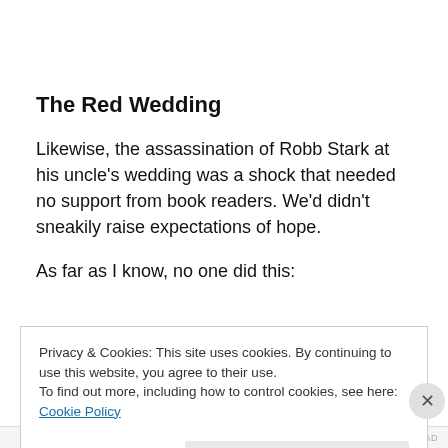The Red Wedding
Likewise, the assassination of Robb Stark at his uncle’s wedding was a shock that needed no support from book readers. We’d didn’t sneakily raise expectations of hope.
As far as I know, no one did this:
Privacy & Cookies: This site uses cookies. By continuing to use this website, you agree to their use.
To find out more, including how to control cookies, see here: Cookie Policy
Close and accept